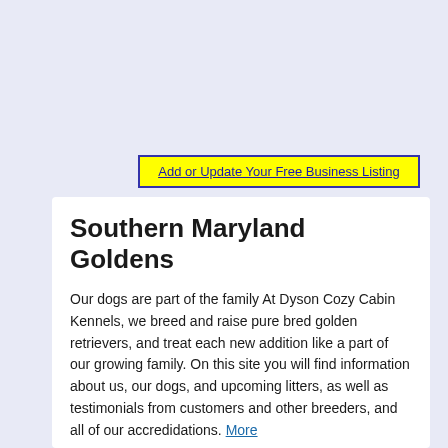Add or Update Your Free Business Listing
Southern Maryland Goldens
Our dogs are part of the family At Dyson Cozy Cabin Kennels, we breed and raise pure bred golden retrievers, and treat each new addition like a part of our growing family. On this site you will find information about us, our dogs, and upcoming litters, as well as testimonials from customers and other breeders, and all of our accredidations. More